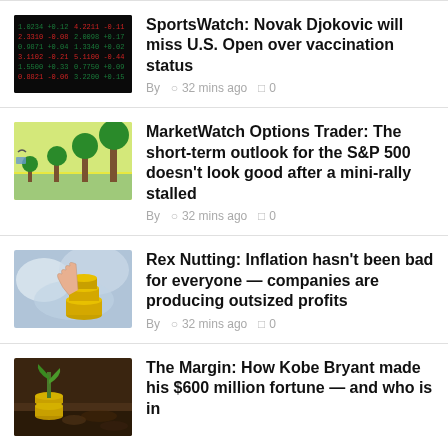[Figure (photo): Dark background with green/red numbers on a screen, stock market display]
SportsWatch: Novak Djokovic will miss U.S. Open over vaccination status
By  🕐 32 mins ago  🗨 0
[Figure (photo): Illustration of cartoon plants growing in a field with a blue sky background]
MarketWatch Options Trader: The short-term outlook for the S&P 500 doesn't look good after a mini-rally stalled
By  🕐 32 mins ago  🗨 0
[Figure (photo): Stack of coins with smoke or clouds in background, financial growth concept]
Rex Nutting: Inflation hasn't been bad for everyone — companies are producing outsized profits
By  🕐 32 mins ago  🗨 0
[Figure (photo): Small green plant seedling growing from soil with coins stacked around it]
The Margin: How Kobe Bryant made his $600 million fortune — and who is in